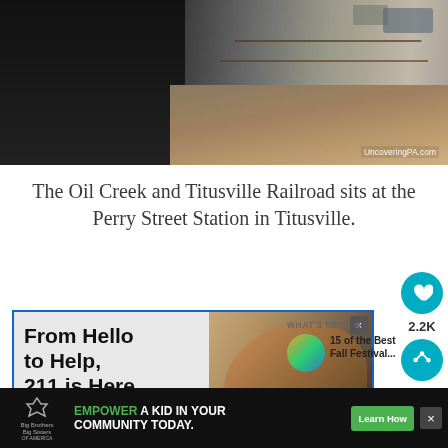[Figure (photo): Train (Oil Creek and Titusville Railroad) sitting at a wooden platform/station, dark train car on left, wooden boardwalk platform extending to the right, cars visible in background. Watermark: UncoveringPA.com]
The Oil Creek and Titusville Railroad sits at the Perry Street Station in Titusville.
[Figure (screenshot): Advertisement for 211 helpline: 'From Hello to Help, 211 is Here' with Big Brothers Big Sisters logo, alongside a close-up photo of an elderly man's wrinkled face]
[Figure (infographic): WHAT'S NEXT → 15 of the Best Fall Festival... with circular thumbnail image]
[Figure (screenshot): Bottom banner advertisement: EMPOWER A KID IN YOUR COMMUNITY TODAY. with Learn How button, Big Brothers Big Sisters of America logo]